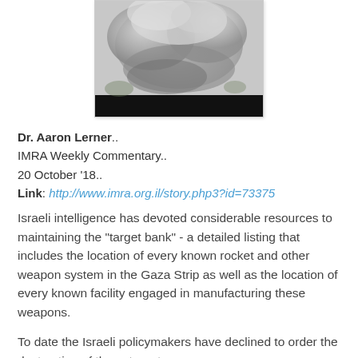[Figure (photo): Explosion or smoke cloud rising from a strike, with a dark band at the bottom of the image.]
Dr. Aaron Lerner..
IMRA Weekly Commentary..
20 October '18..
Link: http://www.imra.org.il/story.php3?id=73375
Israeli intelligence has devoted considerable resources to maintaining the "target bank" - a detailed listing that includes the location of every known rocket and other weapon system in the Gaza Strip as well as the location of every known facility engaged in manufacturing these weapons.
To date the Israeli policymakers have declined to order the destruction of these targets.
This is most likely out of concern for the collateral damage